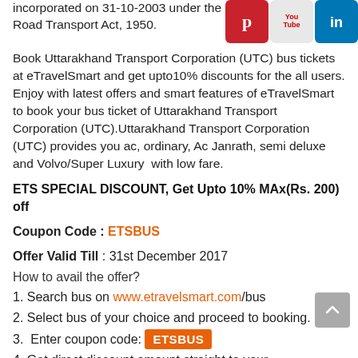incorporated on 31-10-2003 under the ... Road Transport Act, 1950.
[Figure (illustration): Social media icons: Pinterest, YouTube, LinkedIn]
Book Uttarakhand Transport Corporation (UTC) bus tickets at eTravelSmart and get upto10% discounts for the all users. Enjoy with latest offers and smart features of eTravelSmart to book your bus ticket of Uttarakhand Transport Corporation (UTC).Uttarakhand Transport Corporation (UTC) provides you ac, ordinary, Ac Janrath, semi deluxe and Volvo/Super Luxury  with low fare.
ETS SPECIAL DISCOUNT, Get Upto 10% MAx(Rs. 200) off
Coupon Code : ETSBUS
Offer Valid Till : 31st December 2017
How to avail the offer?
1. Search bus on www.etravelsmart.com/bus
2. Select bus of your choice and proceed to booking.
3.  Enter coupon code: ETSBUS
4. Get direct discount amount straight to your